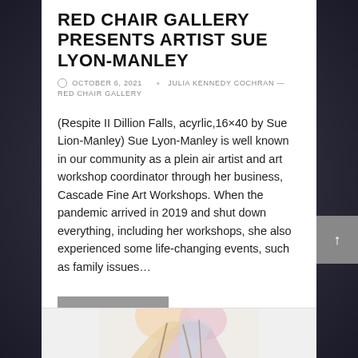RED CHAIR GALLERY PRESENTS ARTIST SUE LYON-MANLEY
© OCTOBER 6, 2021   ✎ JULIA KENNEDY COCHRAN — RED CHAIR GALLERY
(Respite II Dillion Falls, acyrlic,16×40 by Sue Lion-Manley) Sue Lyon-Manley is well known in our community as a plein air artist and art workshop coordinator through her business, Cascade Fine Art Workshops. When the pandemic arrived in 2019 and shut down everything, including her workshops, she also experienced some life-changing events, such as family issues...
READ MORE...
[Figure (photo): Partial view of a colorful artwork showing abstract shapes in pink, yellow and blue, appearing to be the bottom portion of a painting visible at the bottom of the page.]